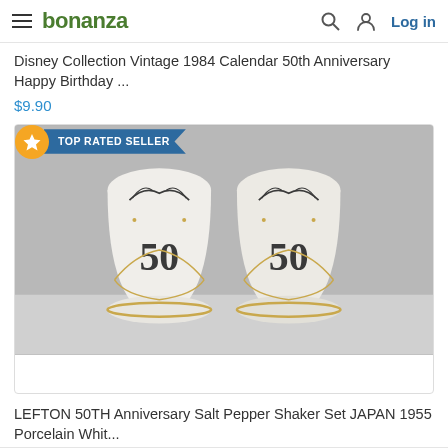bonanza — Log in
Disney Collection Vintage 1984 Calendar 50th Anniversary Happy Birthday ...
$9.90
[Figure (photo): Photo of two white porcelain salt and pepper shakers with gold '50' markings and floral decorations, labeled as LEFTON 50TH Anniversary set from Japan 1955. A 'TOP RATED SELLER' badge is shown in the upper left corner of the card.]
LEFTON 50TH Anniversary Salt Pepper Shaker Set JAPAN 1955 Porcelain Whit...
$21.77